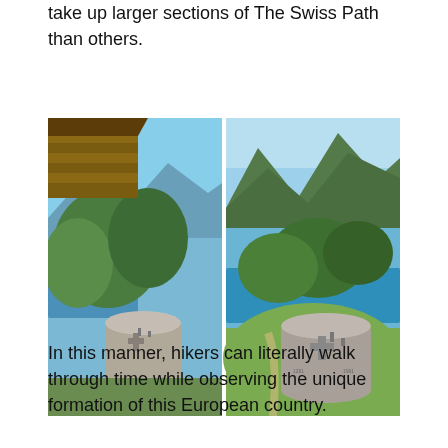take up larger sections of The Swiss Path than others.
[Figure (photo): Two side-by-side photographs showing stone marker monuments on The Swiss Path with scenic mountain and lake views. Left photo shows a close-up of a stone pillar with a Swiss cross emblem near a wooden log building with green trees and blue lake behind. Right photo shows a wider view of a similar stone marker on a grassy hill with trees, a bright blue lake, and mountains in the background.]
In this manner, hikers can literally walk through time while observing the unique formation of this European country.